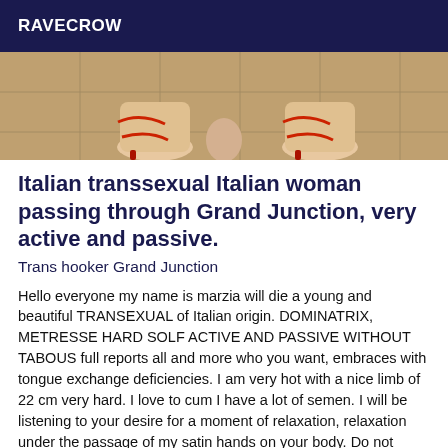RAVECROW
[Figure (photo): Close-up photo of feet wearing red high-heeled sandals on a tiled floor]
Italian transsexual Italian woman passing through Grand Junction, very active and passive.
Trans hooker Grand Junction
Hello everyone my name is marzia will die a young and beautiful TRANSEXUAL of Italian origin. DOMINATRIX, METRESSE HARD SOLF ACTIVE AND PASSIVE WITHOUT TABOUS full reports all and more who you want, embraces with tongue exchange deficiencies. I am very hot with a nice limb of 22 cm very hard. I love to cum I have a lot of semen. I will be listening to your desire for a moment of relaxation, relaxation under the passage of my satin hands on your body. Do not hesitate to call me for more information, I await your call